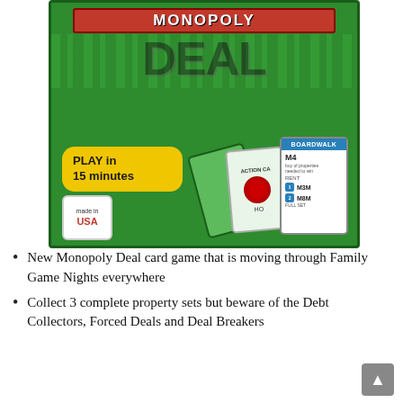[Figure (photo): Monopoly Deal card game box showing green packaging with red MONOPOLY banner, large DEAL text, yellow badge reading PLAY in 15 minutes, game cards including Boardwalk property card, and Made in USA badge.]
New Monopoly Deal card game that is moving through Family Game Nights everywhere
Collect 3 complete property sets but beware of the Debt Collectors, Forced Deals and Deal Breakers